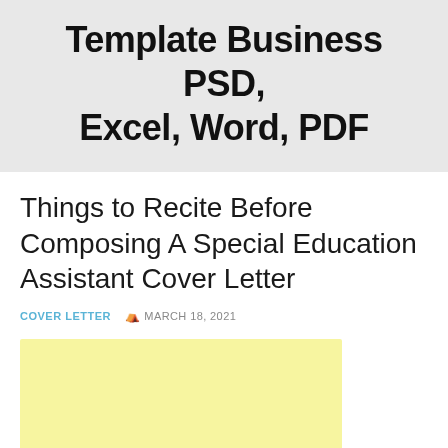Template Business PSD, Excel, Word, PDF
Things to Recite Before Composing A Special Education Assistant Cover Letter
COVER LETTER   MARCH 18, 2021
[Figure (other): Yellow/light yellow rectangular placeholder box (advertisement or image placeholder)]